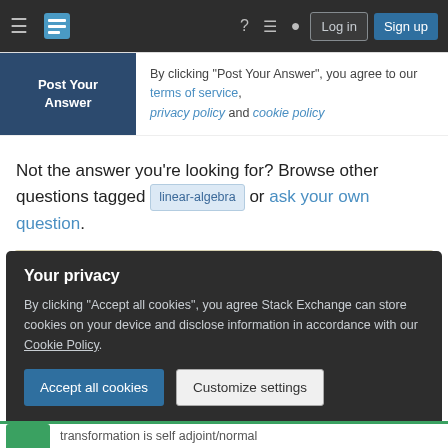Stack Exchange navigation bar with Log in and Sign up buttons
Post Your Answer — By clicking "Post Your Answer", you agree to our terms of service, privacy policy and cookie policy
Not the answer you're looking for? Browse other questions tagged linear-algebra or ask your own question.
Featured on Meta
Planned maintenance scheduled for Tuesday, August 23, 2022 at 00:00-03:00 AM...
Your privacy
By clicking "Accept all cookies", you agree Stack Exchange can store cookies on your device and disclose information in accordance with our Cookie Policy.
transformation is self adjoint/normal